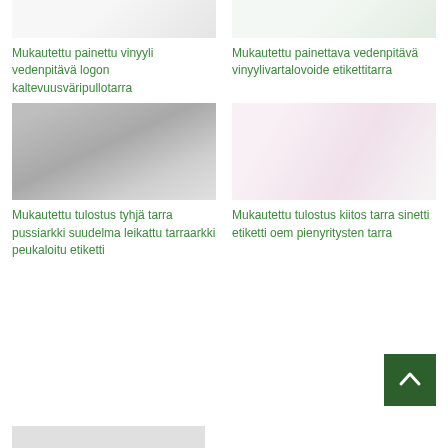[Figure (photo): Photo of colorful custom printed vinyl sticker on a bottle, partial view at top]
Mukautettu painettu vinyyli vedenpitävä logon kaltevuusväripullotarra
[Figure (photo): Photo of custom printable waterproof vinyl body lotion label sticker, partial view at top]
Mukautettu painettava vedenpitävä vinyylivartalovoide etikettitarra
[Figure (photo): Hand holding a round silver VOID security sticker being peeled off]
Mukautettu tulostus tyhjä tarra pussiarkki suudelma leikattu tarraarkki peukaloitu etiketti
[Figure (photo): Roll of pink round thank you seal label stickers for small businesses]
Mukautettu tulostus kiitos tarra sinetti etiketti oem pienyritysten tarra